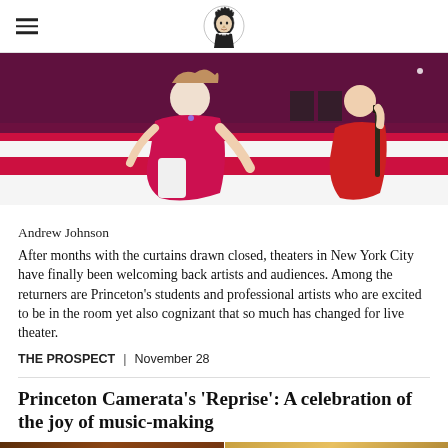Princeton Alumni Weekly (logo)
[Figure (photo): Two performers in red costumes kneeling on a floor with red and white stripes. One is a woman in a red dress/gown, the other is a person in red playing a clarinet. Stage/performance setting.]
Andrew Johnson
After months with the curtains drawn closed, theaters in New York City have finally been welcoming back artists and audiences. Among the returners are Princeton's students and professional artists who are excited to be in the room yet also cognizant that so much has changed for live theater.
THE PROSPECT | November 28
Princeton Camerata's 'Reprise': A celebration of the joy of music-making
[Figure (photo): Two side-by-side photos at the bottom of the page, partially visible. Left photo shows a warm brown-toned performance image, right photo shows a golden/amber-toned image.]